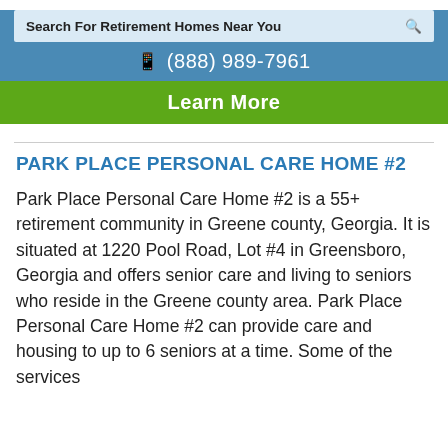[Figure (screenshot): Search bar with text 'Search For Retirement Homes Near You' and a search icon on a light blue background within a steel blue header]
☎ (888) 989-7961
Learn More
PARK PLACE PERSONAL CARE HOME #2
Park Place Personal Care Home #2 is a 55+ retirement community in Greene county, Georgia. It is situated at 1220 Pool Road, Lot #4 in Greensboro, Georgia and offers senior care and living to seniors who reside in the Greene county area. Park Place Personal Care Home #2 can provide care and housing to up to 6 seniors at a time. Some of the services